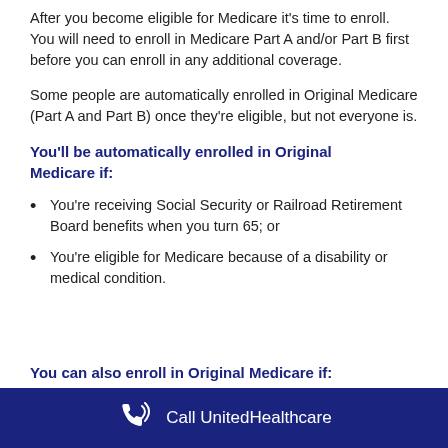After you become eligible for Medicare it's time to enroll. You will need to enroll in Medicare Part A and/or Part B first before you can enroll in any additional coverage.
Some people are automatically enrolled in Original Medicare (Part A and Part B) once they're eligible, but not everyone is.
You'll be automatically enrolled in Original Medicare if:
You're receiving Social Security or Railroad Retirement Board benefits when you turn 65; or
You're eligible for Medicare because of a disability or medical condition.
You can also enroll in Original Medicare if:
Call UnitedHealthcare